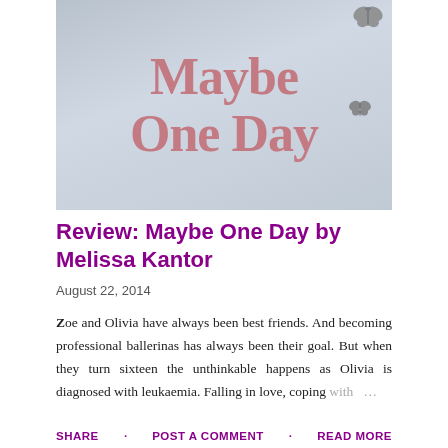[Figure (illustration): Book cover for 'Maybe One Day' by Melissa Kantor. Large pink/rose serif text reading 'Maybe One Day' on a muted grey-blue background with two small butterfly illustrations in the top-right area.]
Review: Maybe One Day by Melissa Kantor
August 22, 2014
Zoe and Olivia have always been best friends. And becoming professional ballerinas has always been their goal. But when they turn sixteen the unthinkable happens as Olivia is diagnosed with leukaemia. Falling in love, coping with …
SHARE   POST A COMMENT   READ MORE